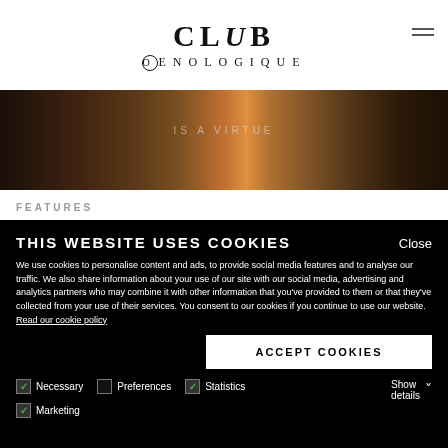[Figure (logo): Club Oenologique logo with stylized O and serif lettering]
[Figure (photo): Dark photo strip showing a bar scene with text 'IS A VIRTUE' and copper/bronze equipment]
FEATURES
THIS WEBSITE USES COOKIES
We use cookies to personalise content and ads, to provide social media features and to analyse our traffic. We also share information about your use of our site with our social media, advertising and analytics partners who may combine it with other information that you've provided to them or that they've collected from your use of their services. You consent to our cookies if you continue to use our website. Read our cookie policy
ACCEPT COOKIES
Necessary  Preferences  Statistics  Marketing  Show details